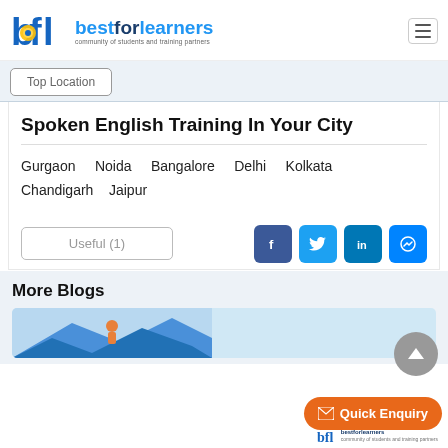bestforlearners — community of students and training partners
Top Location
Spoken English Training In Your City
Gurgaon   Noida   Bangalore   Delhi   Kolkata   Chandigarh   Jaipur
Useful (1)
More Blogs